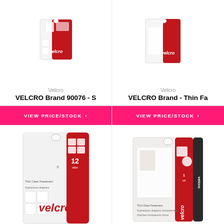[Figure (photo): VELCRO Brand 90076 - S product package (top, partial)]
Velcro
VELCRO Brand 90076 - S
[Figure (photo): VELCRO Brand - Thin Fa product package (top, partial)]
Velcro
VELCRO Brand - Thin Fa
VIEW PRICE/STOCK
VIEW PRICE/STOCK
[Figure (photo): VELCRO brand Thin Clear Fasteners 12-count product package]
[Figure (photo): VELCRO brand Thin Clear Fasteners roll product package]